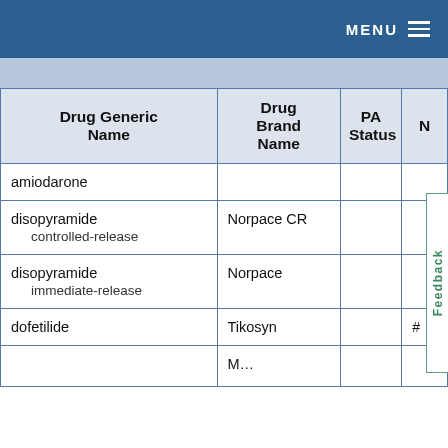MENU
| Drug Generic Name | Drug Brand Name | PA Status | N |
| --- | --- | --- | --- |
| amiodarone |  |  |  |
| disopyramide controlled-release | Norpace CR |  |  |
| disopyramide immediate-release | Norpace |  |  |
| dofetilide | Tikosyn |  | # |
| … | M… |  |  |